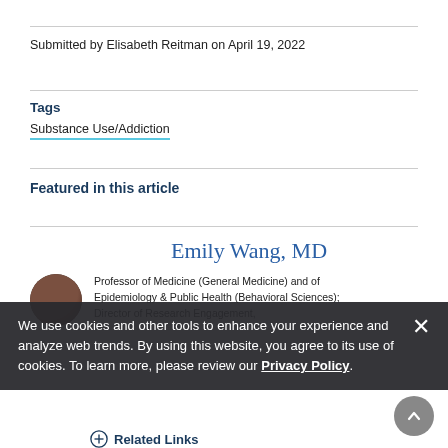Submitted by Elisabeth Reitman on April 19, 2022
Tags
Substance Use/Addiction
Featured in this article
Emily Wang, MD
Professor of Medicine (General Medicine) and of Epidemiology & Public Health (Behavioral Sciences); Director of Research Engagement,
We use cookies and other tools to enhance your experience and analyze web trends. By using this website, you agree to its use of cookies. To learn more, please review our Privacy Policy.
Related Links